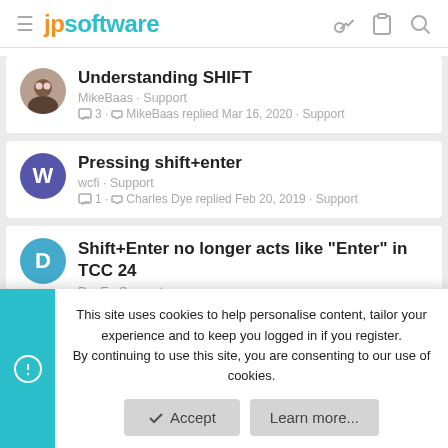jpsoftware
Understanding SHIFT
MikeBaas · Support
3 · MikeBaas replied Mar 16, 2020 · Support
Pressing shift+enter
wcfi · Support
1 · Charles Dye replied Feb 20, 2019 · Support
Shift+Enter no longer acts like "Enter" in TCC 24
DocE · Support
This site uses cookies to help personalise content, tailor your experience and to keep you logged in if you register.
By continuing to use this site, you are consenting to our use of cookies.